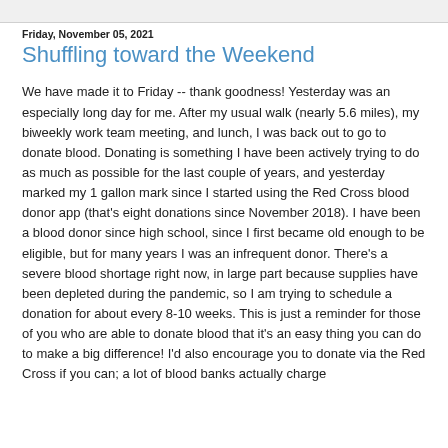Friday, November 05, 2021
Shuffling toward the Weekend
We have made it to Friday -- thank goodness! Yesterday was an especially long day for me. After my usual walk (nearly 5.6 miles), my biweekly work team meeting, and lunch, I was back out to go to donate blood. Donating is something I have been actively trying to do as much as possible for the last couple of years, and yesterday marked my 1 gallon mark since I started using the Red Cross blood donor app (that's eight donations since November 2018). I have been a blood donor since high school, since I first became old enough to be eligible, but for many years I was an infrequent donor. There's a severe blood shortage right now, in large part because supplies have been depleted during the pandemic, so I am trying to schedule a donation for about every 8-10 weeks. This is just a reminder for those of you who are able to donate blood that it's an easy thing you can do to make a big difference! I'd also encourage you to donate via the Red Cross if you can; a lot of blood banks actually charge